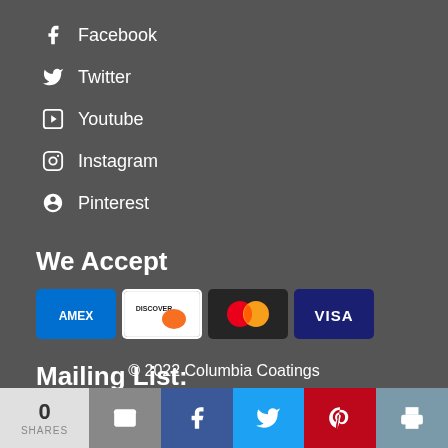Facebook
Twitter
Youtube
Instagram
Pinterest
We Accept
[Figure (other): Payment card icons: Amex, Discover, Mastercard, Visa]
Mailing List:
Go
© 2022 Columbia Coatings
0 SHARES